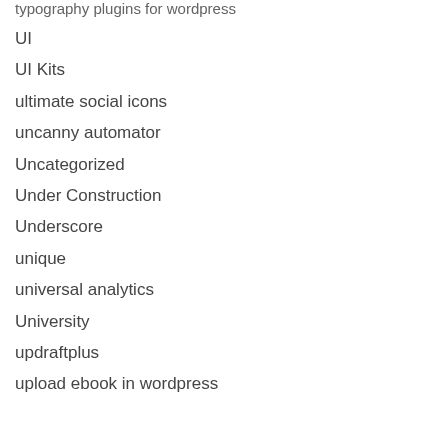typography plugins for wordpress
UI
UI Kits
ultimate social icons
uncanny automator
Uncategorized
Under Construction
Underscore
unique
universal analytics
University
updraftplus
upload ebook in wordpress